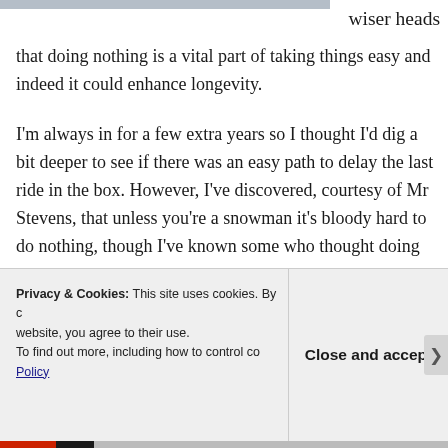[Figure (photo): Partial top image strip, cropped at top of page]
wiser heads
that doing nothing is a vital part of taking things easy and indeed it could enhance longevity.
I'm always in for a few extra years so I thought I'd dig a bit deeper to see if there was an easy path to delay the last ride in the box. However, I've discovered, courtesy of Mr Stevens, that unless you're a snowman it's bloody hard to do nothing, though I've known some who thought doing
Privacy & Cookies: This site uses cookies. By c website, you agree to their use.
To find out more, including how to control co Policy
Close and accept